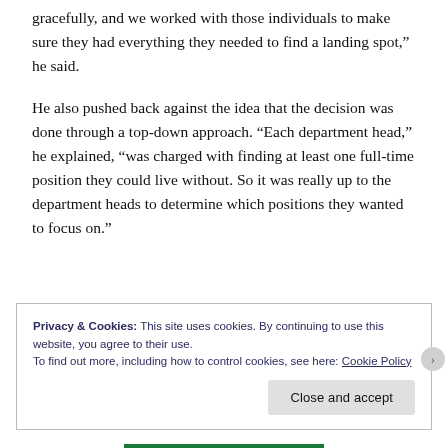gracefully, and we worked with those individuals to make sure they had everything they needed to find a landing spot,” he said.
He also pushed back against the idea that the decision was done through a top-down approach. “Each department head,” he explained, “was charged with finding at least one full-time position they could live without. So it was really up to the department heads to determine which positions they wanted to focus on.”
Privacy & Cookies: This site uses cookies. By continuing to use this website, you agree to their use.
To find out more, including how to control cookies, see here: Cookie Policy